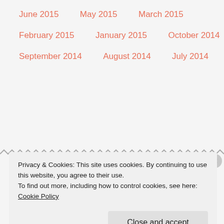June 2015
May 2015
March 2015
February 2015
January 2015
October 2014
September 2014
August 2014
July 2014
Privacy & Cookies: This site uses cookies. By continuing to use this website, you agree to their use. To find out more, including how to control cookies, see here: Cookie Policy
Close and accept